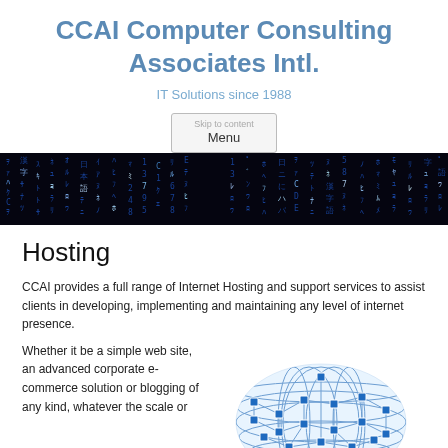CCAI Computer Consulting Associates Intl.
IT Solutions since 1988
Menu
[Figure (photo): Dark banner image showing glowing blue matrix-style characters (Japanese/alphanumeric) on a black background, resembling digital rain/code]
Hosting
CCAI provides a full range of Internet Hosting and support services to assist clients in developing, implementing and maintaining any level of internet presence.
Whether it be a simple web site, an advanced corporate e-commerce solution or blogging of any kind, whatever the scale or
[Figure (illustration): A 3D sphere/globe made of interconnected blue nodes and lines forming a network lattice, on a white background]